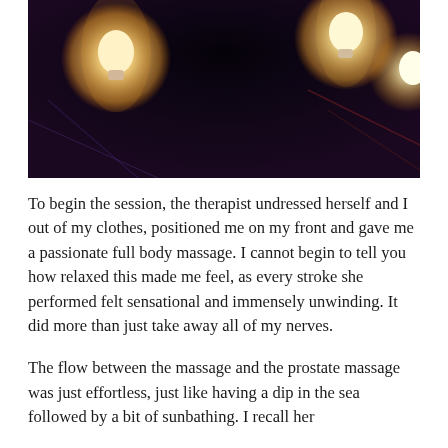[Figure (photo): A colorful photo showing bright glowing light bulbs or light sources emitting warm yellow-white light against a dark background with vibrant purple, blue, and red/orange colored lighting or fabric.]
To begin the session, the therapist undressed herself and I out of my clothes, positioned me on my front and gave me a passionate full body massage. I cannot begin to tell you how relaxed this made me feel, as every stroke she performed felt sensational and immensely unwinding. It did more than just take away all of my nerves.
The flow between the massage and the prostate massage was just effortless, just like having a dip in the sea followed by a bit of sunbathing. I recall her